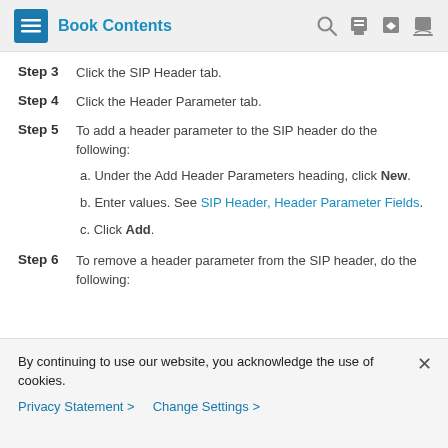Book Contents
Step 3   Click the SIP Header tab.
Step 4   Click the Header Parameter tab.
Step 5   To add a header parameter to the SIP header do the following:
a. Under the Add Header Parameters heading, click New.
b. Enter values. See SIP Header, Header Parameter Fields.
c. Click Add.
Step 6   To remove a header parameter from the SIP header, do the following:
By continuing to use our website, you acknowledge the use of cookies.
Privacy Statement >   Change Settings >